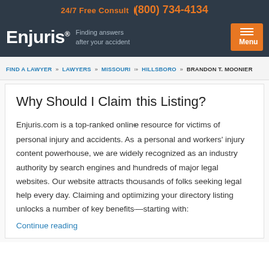24/7 Free Consult  (800) 734-4134
[Figure (logo): Enjuris logo with tagline 'Finding answers after your accident' and orange Menu button]
FIND A LAWYER » LAWYERS » MISSOURI » HILLSBORO » BRANDON T. MOONIER
Why Should I Claim this Listing?
Enjuris.com is a top-ranked online resource for victims of personal injury and accidents. As a personal and workers' injury content powerhouse, we are widely recognized as an industry authority by search engines and hundreds of major legal websites. Our website attracts thousands of folks seeking legal help every day. Claiming and optimizing your directory listing unlocks a number of key benefits—starting with:
Continue reading